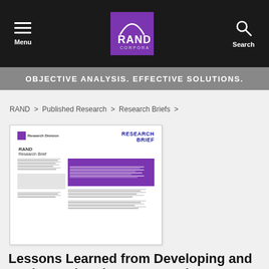[Figure (screenshot): RAND Corporation website header with dark navigation bar showing menu icon, RAND Corporation purple logo, and search icon]
OBJECTIVE ANALYSIS. EFFECTIVE SOLUTIONS.
RAND > Published Research > Research Briefs >
[Figure (photo): Thumbnail image of a RAND Research Brief document cover]
Lessons Learned from Developing and Implementing the Qatar Student